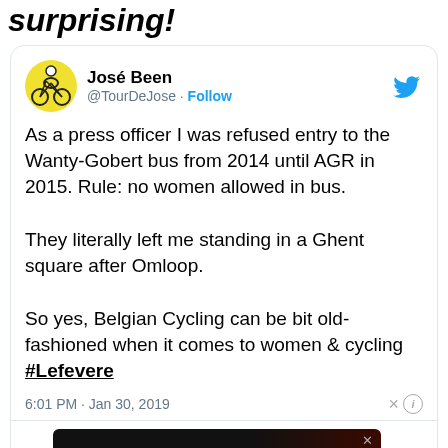surprising!
[Figure (screenshot): Tweet from @TourDeJose (José Been) embedded in an article, with avatar, follow button, tweet text, timestamp, like icon, and an advertisement banner for Magicshine 'Ride More. Enjoy More']
As a press officer I was refused entry to the Wanty-Gobert bus from 2014 until AGR in 2015. Rule: no women allowed in bus.

They literally left me standing in a Ghent square after Omloop.

So yes, Belgian Cycling can be bit old-fashioned when it comes to women & cycling #Lefevere
6:01 PM · Jan 30, 2019